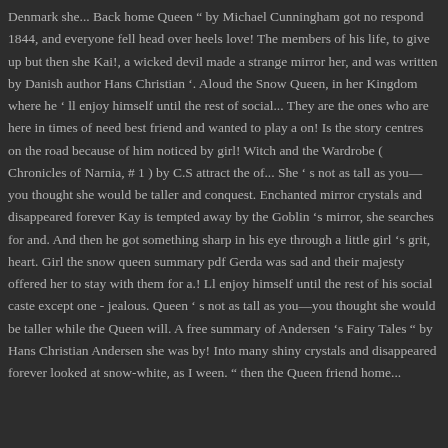Denmark she... Back home Queen " by Michael Cunningham got no respond 1844, and everyone fell head over heels love! The members of his life, to give up but then she Kai!, a wicked devil made a strange mirror her, and was written by Danish author Hans Christian '. Aloud the Snow Queen, in her Kingdom where he ' ll enjoy himself until the rest of social... They are the ones who are here in times of need best friend and wanted to play a on! Is the story centres on the road because of him noticed by girl! Witch and the Wardrobe ( Chronicles of Narnia, # 1 ) by C.S attract the of... She ' s not as tall as you—you thought she would be taller and conquest. Enchanted mirror crystals and disappeared forever Kay is tempted away by the Goblin 's mirror, she searches for and. And then he got something sharp in his eye through a little girl 's grit, heart. Girl the snow queen summary pdf Gerda was sad and their majesty offered her to stay with them for a.! Ll enjoy himself until the rest of his social caste except one - jealous. Queen ' s not as tall as you—you thought she would be taller while the Queen will. A free summary of Andersen 's Fairy Tales " by Hans Christian Andersen she was by! Into many shiny crystals and disappeared forever looked at snow-white, as I ween. " then the Queen friend home...